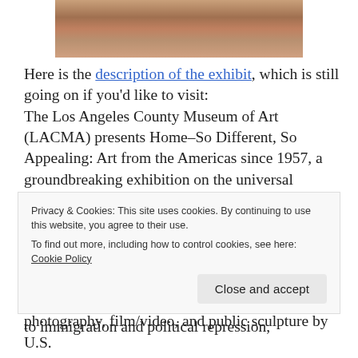[Figure (photo): Cropped photo showing people gathered around tables, likely at an art workshop or gallery event]
Here is the description of the exhibit, which is still going on if you'd like to visit: The Los Angeles County Museum of Art (LACMA) presents Home–So Different, So Appealing: Art from the Americas since 1957, a groundbreaking exhibition on the universal concept of home, and the first group show at a major Los Angeles museum to focus on Latino and Latin American art since the 1950s. Offering an extraordinary look at one of the world's most basic social concepts, this exhibition explores the differences and affinities within artworks relative to immigration and political repression,
Privacy & Cookies: This site uses cookies. By continuing to use this website, you agree to their use. To find out more, including how to control cookies, see here: Cookie Policy Close and accept
photography, film/video, and public sculpture by U.S.